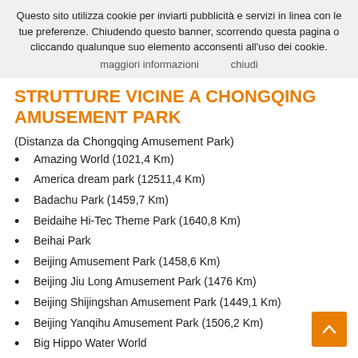Questo sito utilizza cookie per inviarti pubblicità e servizi in linea con le tue preferenze. Chiudendo questo banner, scorrendo questa pagina o cliccando qualunque suo elemento acconsenti all'uso dei cookie. maggiori informazioni   chiudi
STRUTTURE VICINE A CHONGQING AMUSEMENT PARK
(Distanza da Chongqing Amusement Park)
Amazing World (1021,4 Km)
America dream park (12511,4 Km)
Badachu Park (1459,7 Km)
Beidaihe Hi-Tec Theme Park (1640,8 Km)
Beihai Park
Beijing Amusement Park (1458,6 Km)
Beijing Jiu Long Amusement Park (1476 Km)
Beijing Shijingshan Amusement Park (1449,1 Km)
Beijing Yanqihu Amusement Park (1506,2 Km)
Big Hippo Water World
Carefree Valley (10686,3 Km)
Changsha Window of the World
Chaoyang Park (1459,7 Km)